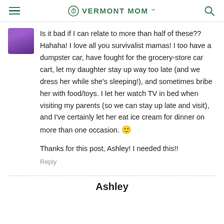VERMONT MOM
[Figure (photo): Small avatar photo of a person wearing a purple top]
Is it bad if I can relate to more than half of these?? Hahaha! I love all you survivalist mamas! I too have a dumpster car, have fought for the grocery-store car cart, let my daughter stay up way too late (and we dress her while she's sleeping!), and sometimes bribe her with food/toys. I let her watch TV in bed when visiting my parents (so we can stay up late and visit), and I've certainly let her eat ice cream for dinner on more than one occasion. 🙂
Thanks for this post, Ashley! I needed this!!
Reply
Ashley